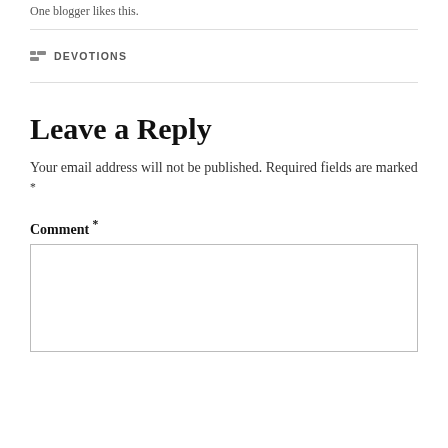One blogger likes this.
DEVOTIONS
Leave a Reply
Your email address will not be published. Required fields are marked *
Comment *